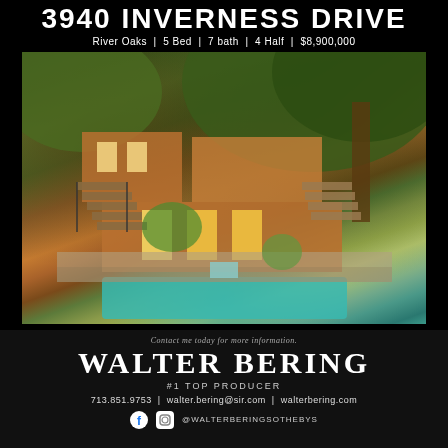3940 INVERNESS DRIVE
River Oaks | 5 Bed | 7 bath | 4 Half | $8,900,000
[Figure (photo): Exterior photo of a luxury home at 3940 Inverness Drive in River Oaks, featuring multi-level terraces, stone steps, iron railings, lush oak trees, and a pool in the foreground.]
Contact me today for more information.
WALTER BERING
#1 TOP PRODUCER
713.851.9753 | walter.bering@sir.com | walterbering.com
@WALTERBERINGSOTHEBYS